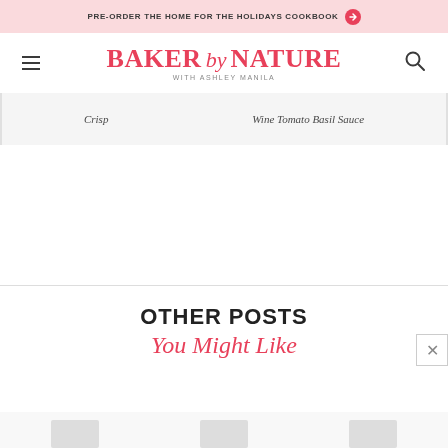PRE-ORDER THE HOME FOR THE HOLIDAYS COOKBOOK →
[Figure (logo): Baker by Nature with Ashley Manila logo in pink/red serif font]
Crisp
Wine Tomato Basil Sauce
OTHER POSTS
You Might Like